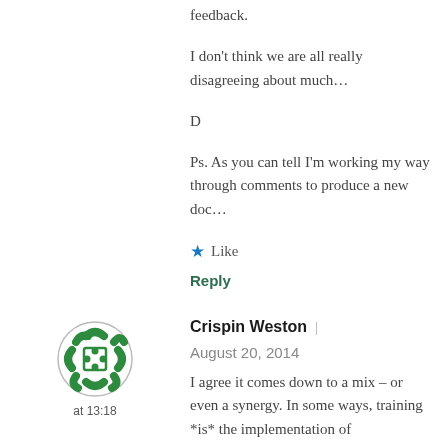feedback.
I don't think we are all really disagreeing about much…
D
Ps. As you can tell I'm working my way through comments to produce a new doc…
★ Like
Reply
[Figure (illustration): Circular green decorative avatar icon for Crispin Weston]
at 13:18
Crispin Weston | August 20, 2014
I agree it comes down to a mix – or even a synergy. In some ways, training *is* the implementation of